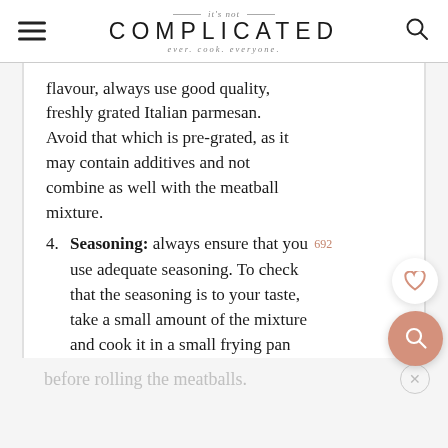it's not COMPLICATED ever. cook. everyone.
flavour, always use good quality, freshly grated Italian parmesan. Avoid that which is pre-grated, as it may contain additives and not combine as well with the meatball mixture.
4. Seasoning: always ensure that you use adequate seasoning. To check that the seasoning is to your taste, take a small amount of the mixture and cook it in a small frying pan
before rolling the meatballs.